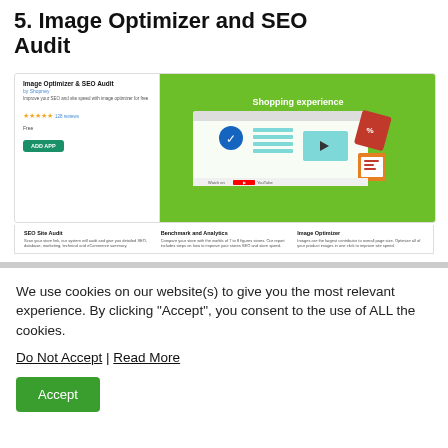5. Image Optimizer and SEO Audit
[Figure (screenshot): Screenshot of the Image Optimizer & SEO Audit Shopify app listing, showing the app title, star rating, free plan, Add app button, a green promotional graphic with shopping experience UI elements, and three feature sections: SEO Site Audit, Benchmark and Analytics, and Image Optimizer.]
We use cookies on our website(s) to give you the most relevant experience. By clicking “Accept”, you consent to the use of ALL the cookies.
Do Not Accept | Read More
Accept